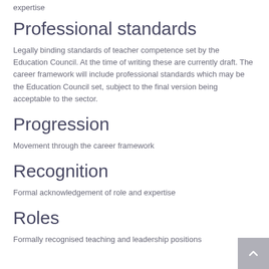expertise
Professional standards
Legally binding standards of teacher competence set by the Education Council. At the time of writing these are currently draft. The career framework will include professional standards which may be the Education Council set, subject to the final version being acceptable to the sector.
Progression
Movement through the career framework
Recognition
Formal acknowledgement of role and expertise
Roles
Formally recognised teaching and leadership positions